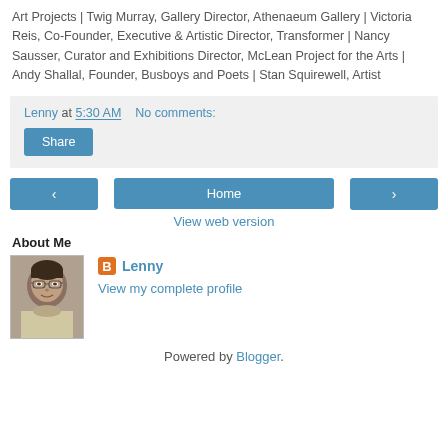Art Projects | Twig Murray, Gallery Director, Athenaeum Gallery | Victoria Reis, Co-Founder, Executive & Artistic Director, Transformer | Nancy Sausser, Curator and Exhibitions Director, McLean Project for the Arts | Andy Shallal, Founder, Busboys and Poets | Stan Squirewell, Artist
Lenny at 5:30 AM   No comments:
Share
< Home >
View web version
About Me
Lenny
View my complete profile
Powered by Blogger.